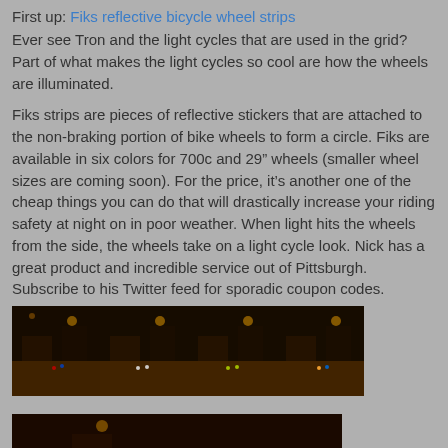First up: Fiks reflective bicycle wheel strips
Ever see Tron and the light cycles that are used in the grid? Part of what makes the light cycles so cool are how the wheels are illuminated.
Fiks strips are pieces of reflective stickers that are attached to the non-braking portion of bike wheels to form a circle. Fiks are available in six colors for 700c and 29" wheels (smaller wheel sizes are coming soon). For the price, it’s another one of the cheap things you can do that will drastically increase your riding safety at night on in poor weather. When light hits the wheels from the side, the wheels take on a light cycle look. Nick has a great product and incredible service out of Pittsburgh. Subscribe to his Twitter feed for sporadic coupon codes.
[Figure (photo): Four dark night-time photos of illuminated bicycle wheels in a strip]
[Figure (photo): A dark night-time photo partially visible at bottom of page showing illuminated bicycle wheel]